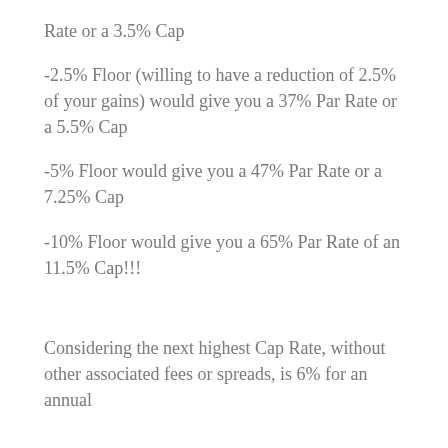Rate or a 3.5% Cap
-2.5% Floor (willing to have a reduction of 2.5% of your gains) would give you a 37% Par Rate or a 5.5% Cap
-5% Floor would give you a 47% Par Rate or a 7.25% Cap
-10% Floor would give you a 65% Par Rate of an 11.5% Cap!!!
Considering the next highest Cap Rate, without other associated fees or spreads, is 6% for an annual